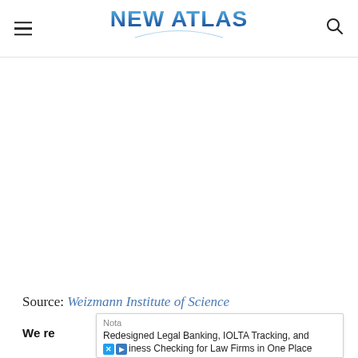NEW ATLAS
[Figure (other): Large white/blank advertisement or image space below the New Atlas header]
Source: Weizmann Institute of Science
We re[commend]
Nota
Redesigned Legal Banking, IOLTA Tracking, and business Checking for Law Firms in One Place